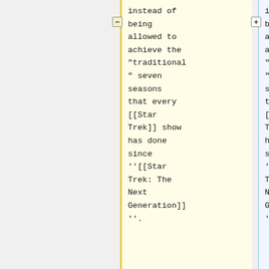instead of being allowed to achieve the "traditional" seven seasons that every [[Star Trek]] show has done since ''[[Star Trek: The Next Generation]]''.
instead of being allowed to achieve the "traditional" seven seasons that every [[Star Trek]] show has done since ''[[Star Trek: The Next Generation]]''.
==Controversies==
==Controversies==